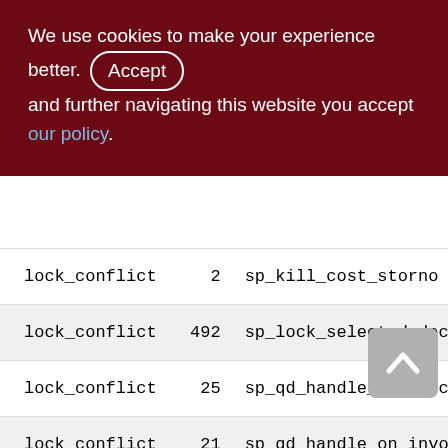We use cookies to make your experience better. By accepting and further navigating this website you accept our policy.
| lock_conflict | 2 | sp_kill_cost_storno |
| lock_conflict | 492 | sp_lock_selected_doc |
| lock_conflict | 25 | sp_qd_handle_on_cancel_clo |
| lock_conflict | 21 | sp_qd_handle_on_invoice_upd_st... |
| lock_conflict | 14 | x_lock_depdocs_on_canc_invoice |